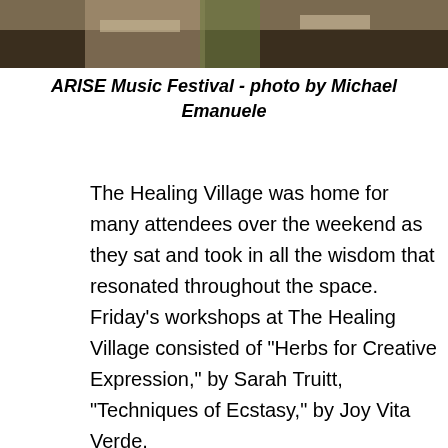[Figure (photo): Partial photo of people at ARISE Music Festival, cropped at the top of the page showing torsos/lower bodies outdoors.]
ARISE Music Festival - photo by Michael Emanuele
The Healing Village was home for many attendees over the weekend as they sat and took in all the wisdom that resonated throughout the space. Friday’s workshops at The Healing Village consisted of “Herbs for Creative Expression,” by Sarah Truitt, “Techniques of Ecstasy,” by Joy Vita Verde,